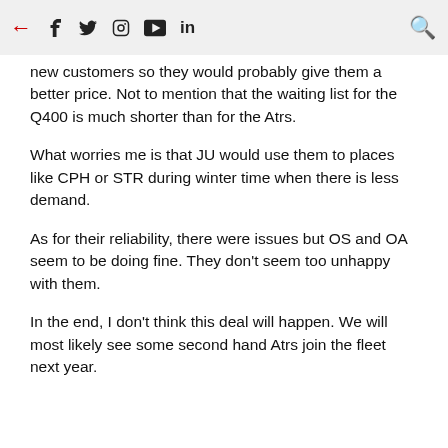← f tw instagram youtube in 🔍
new customers so they would probably give them a better price. Not to mention that the waiting list for the Q400 is much shorter than for the Atrs.
What worries me is that JU would use them to places like CPH or STR during winter time when there is less demand.
As for their reliability, there were issues but OS and OA seem to be doing fine. They don't seem too unhappy with them.
In the end, I don't think this deal will happen. We will most likely see some second hand Atrs join the fleet next year.